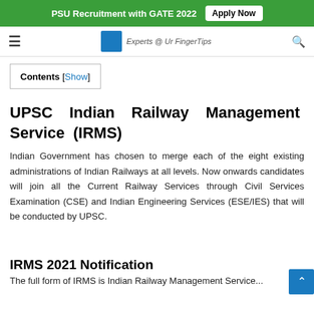PSU Recruitment with GATE 2022  Apply Now
[Figure (logo): Website navbar with hamburger menu, logo icon, 'Experts @ Ur FingerTips' text, and search icon]
Contents [Show]
UPSC Indian Railway Management Service (IRMS)
Indian Government has chosen to merge each of the eight existing administrations of Indian Railways at all levels. Now onwards candidates will join all the Current Railway Services through Civil Services Examination (CSE) and Indian Engineering Services (ESE/IES) that will be conducted by UPSC.
IRMS 2021 Notification
The full form of IRMS is Indian Railway Management Service...